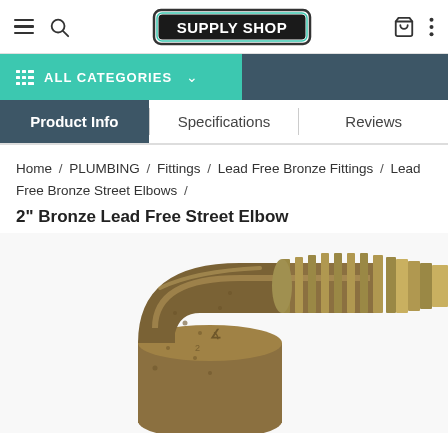Supply Shop - navigation header with hamburger menu, search icon, cart icon, and more options
ALL CATEGORIES
Product Info | Specifications | Reviews
Home / PLUMBING / Fittings / Lead Free Bronze Fittings / Lead Free Bronze Street Elbows / 2" Bronze Lead Free Street Elbow
2" Bronze Lead Free Street Elbow
[Figure (photo): Bronze 90-degree lead free street elbow fitting with threaded male end, shown in close-up on white background]